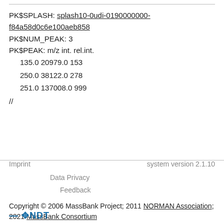MS$FOCUSED_ION: PRECURSOR_M/Z 251.23
PK$SPLASH: splash10-0udi-0190000000-f84a58d0c6e100aeb858
PK$NUM_PEAK: 3
PK$PEAK: m/z int. rel.int.
  135.0 20979.0 153
  250.0 38122.0 278
  251.0 137008.0 999
//
Imprint   system version 2.1.10
Data Privacy
Feedback
Copyright © 2006 MassBank Project; 2011 NORMAN Association; 2021 MassBank Consortium